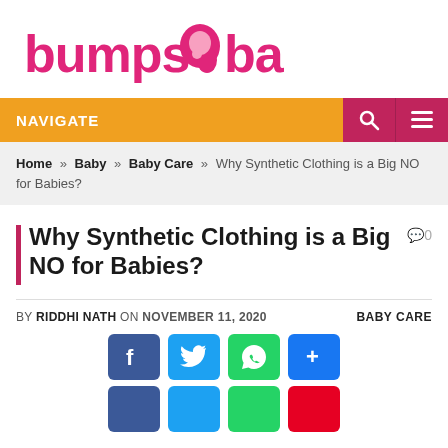[Figure (logo): Bumps n Baby logo in pink/magenta text with elephant mother and baby icon]
NAVIGATE
Home » Baby » Baby Care » Why Synthetic Clothing is a Big NO for Babies?
Why Synthetic Clothing is a Big NO for Babies?
BY RIDDHI NATH ON NOVEMBER 11, 2020   BABY CARE
[Figure (infographic): Social sharing buttons: Facebook, Twitter, WhatsApp, Share, and a second row of partial buttons]